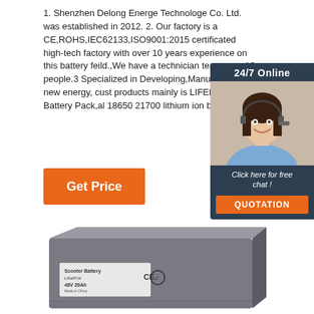1. Shenzhen Delong Energe Technologe Co. Ltd. was established in 2012. 2. Our factory is a CE,ROHS,IEC62133,ISO9001:2015 certificated high-tech factory with over 10 years experience on this battery feild.,We have a technician team over 10 people.3 Specialized in Developing,Manufacturing new energy, cust products mainly is LIFEPO4 Battery Pack,al 18650 21700 lithium ion battery ...
[Figure (illustration): 24/7 Online chat widget with a smiling woman wearing a headset, dark background with 'Click here for free chat!' text and orange QUOTATION button]
Get Price
[Figure (photo): A gray/silver rectangular battery pack box labeled 'Scooter Battery LiFePO4 48V 20Ah' with CE certification mark]